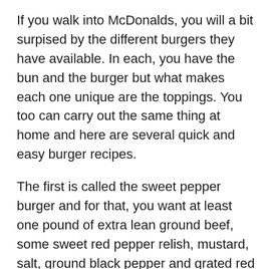If you walk into McDonalds, you will a bit surpised by the different burgers they have available. In each, you have the bun and the burger but what makes each one unique are the toppings. You too can carry out the same thing at home and here are several quick and easy burger recipes.
The first is called the sweet pepper burger and for that, you want at least one pound of extra lean ground beef, some sweet red pepper relish, mustard, salt, ground black pepper and grated red onion. Once anyone could have all the ingredients, cook the burger for about 5 to 6 minutes on the two of you or the desired doneness. Heat the bread and cook the relish